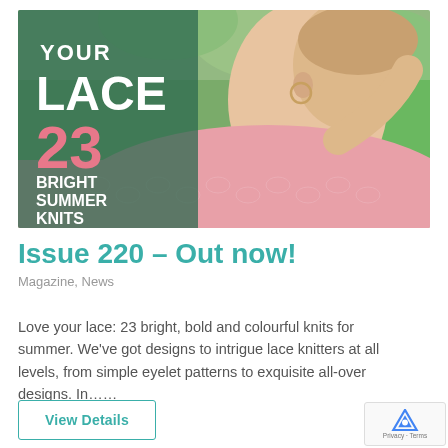[Figure (photo): Magazine cover for 'Your Lace' issue 23 showing a woman in a pink lacy knit top with text: YOUR LACE, 23, BRIGHT SUMMER KNITS]
Issue 220 – Out now!
Magazine, News
Love your lace: 23 bright, bold and colourful knits for summer. We've got designs to intrigue lace knitters at all levels, from simple eyelet patterns to exquisite all-over designs. In……
View Details